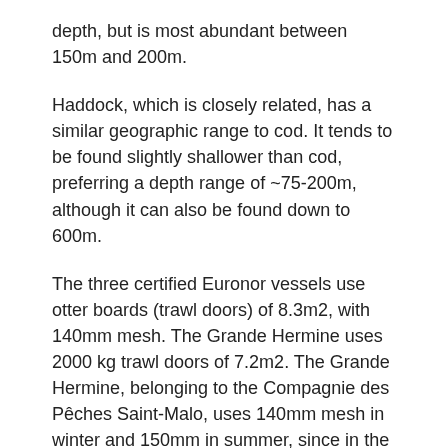depth, but is most abundant between 150m and 200m.
Haddock, which is closely related, has a similar geographic range to cod. It tends to be found slightly shallower than cod, preferring a depth range of ~75-200m, although it can also be found down to 600m.
The three certified Euronor vessels use otter boards (trawl doors) of 8.3m2, with 140mm mesh. The Grande Hermine uses 2000 kg trawl doors of 7.2m2. The Grande Hermine, belonging to the Compagnie des Pêches Saint-Malo, uses 140mm mesh in winter and 150mm in summer, since in the fishery's experience this helps to avoid catching juvenile fish during the summer. The legal minimum mesh size is 130mm.
The trawl must also include a sorting grid. Regulations require a 50mm grill, but Euronor and the Grande Hermine